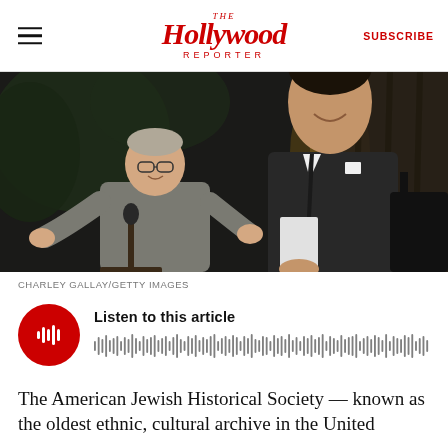The Hollywood Reporter | SUBSCRIBE
[Figure (photo): Two men at a podium/event: one older man in a gray suit gesturing with hands, one taller man in a dark suit smiling, event venue with curtains in background]
CHARLEY GALLAY/GETTY IMAGES
Listen to this article
The American Jewish Historical Society — known as the oldest ethnic, cultural archive in the United